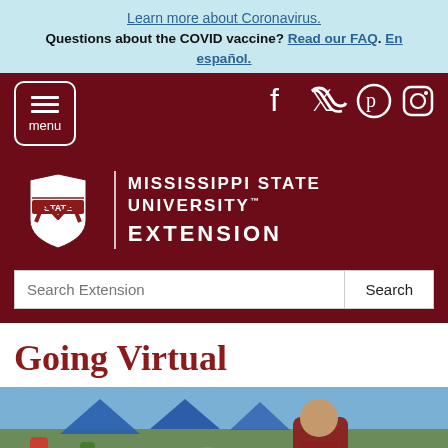Learn more about Coronavirus.
Questions about the COVID vaccine? Read our FAQ. En español.
[Figure (screenshot): Mississippi State University Extension website header with maroon background, menu button, social media icons (Facebook, Twitter, Pinterest, Instagram), MSU logo, and search bar]
Going Virtual
[Figure (photo): Outdoor market scene with blue tents and a woman wearing a maroon mask in the foreground]